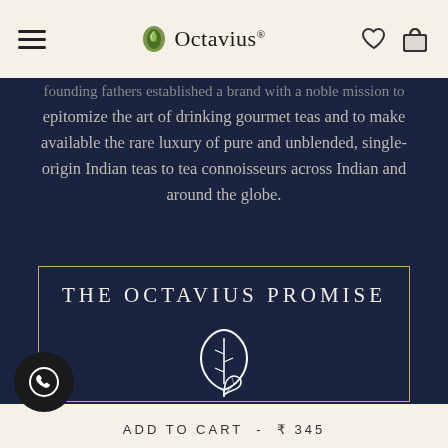Octavius
founding fathers established a brand with a noble mission to epitomize the art of drinking gourmet teas and to make available the rare luxury of pure and unblended, single-origin Indian teas to tea connoisseurs across Indian and around the globe.
THE OCTAVIUS PROMISE
[Figure (illustration): Line art icon of a tea leaf / plant inside a teardrop shape with a smaller leaf below, all in white outline on dark navy background]
ADD TO CART  -  ₹ 345